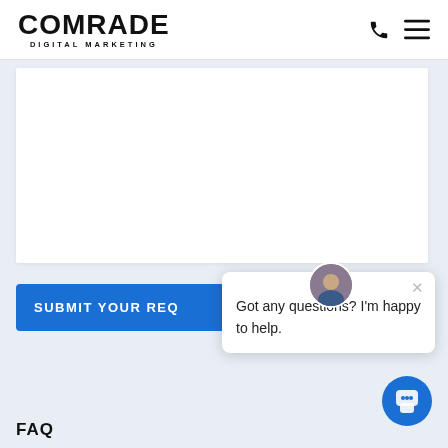COMRADE DIGITAL MARKETING
[Figure (screenshot): White form area placeholder]
SUBMIT YOUR REQ
Got any questions? I'm happy to help.
FAQ